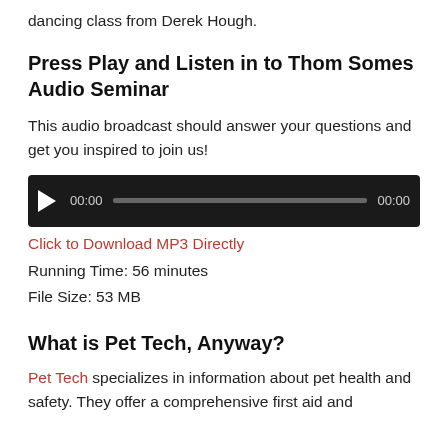dancing class from Derek Hough.
Press Play and Listen in to Thom Somes Audio Seminar
This audio broadcast should answer your questions and get you inspired to join us!
[Figure (other): Audio player widget with play button, progress bar showing 00:00 / 00:00]
Click to Download MP3 Directly
Running Time: 56 minutes
File Size: 53 MB
What is Pet Tech, Anyway?
Pet Tech specializes in information about pet health and safety. They offer a comprehensive first aid and